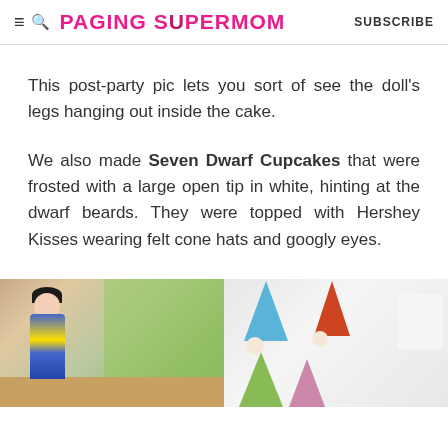PAGING SUPERMOM | SUBSCRIBE
This post-party pic lets you sort of see the doll's legs hanging out inside the cake.
We also made Seven Dwarf Cupcakes that were frosted with a large open tip in white, hinting at the dwarf beards. They were topped with Hershey Kisses wearing felt cone hats and googly eyes.
[Figure (photo): Two photos side by side: left shows a Snow White doll figure, right shows Seven Dwarf Cupcakes with colored cone hats]